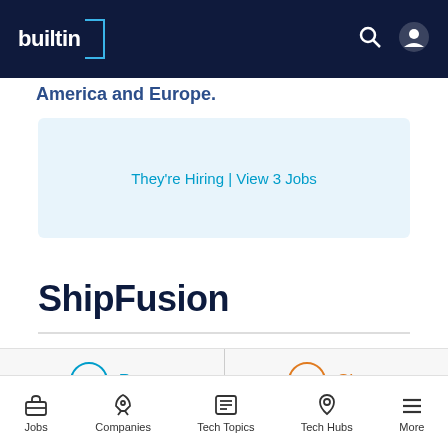builtin [navigation bar with search and user icons]
America and Europe.
They're Hiring | View 3 Jobs
ShipFusion
Post
Share
Jobs | Companies | Tech Topics | Tech Hubs | More